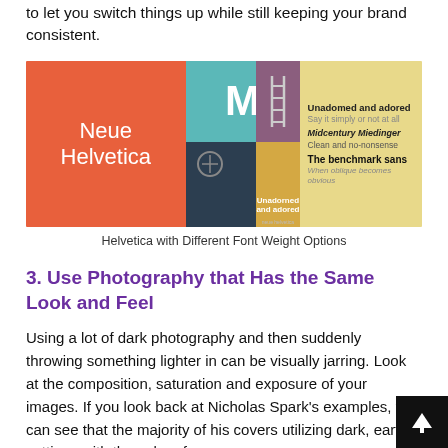to let you switch things up while still keeping your brand consistent.
[Figure (illustration): Promotional image for Neue Helvetica showing different font weights and styles. Left panel is orange with 'Neue Helvetica' in white light weight. Center top is teal with bold white M and purple panel with ladder icon. Center bottom is dark with circle icon, gold panel with 'Unadorned and adored' text. Right panel is yellow with text lines showing Unadomed and adored, Say it simply or not at all, Midcentury Miedinger (bold italic), Clean and no-nonsense, The benchmark sans (bold), When oblique becomes obvious (italic).]
Helvetica with Different Font Weight Options
3. Use Photography that Has the Same Look and Feel
Using a lot of dark photography and then suddenly throwing something lighter in can be visually jarring. Look at the composition, saturation and exposure of your images. If you look back at Nicholas Spark's examples, you can see that the majority of his covers utilizing dark, earthy settings with the color of